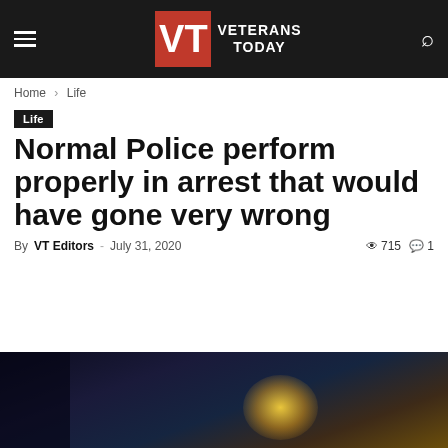VT VETERANS TODAY
Home › Life
Life
Normal Police perform properly in arrest that would have gone very wrong
By VT Editors - July 31, 2020  715  1
[Figure (photo): Dark nighttime police scene with a bright light/glare in the background]